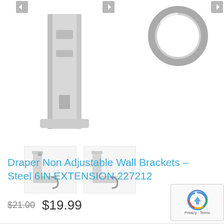[Figure (photo): White steel wall bracket post - tall rectangular bracket with holes, and a metal ring hardware piece in top right]
[Figure (photo): Two thumbnail images of white wall bracket sets with hook attachments]
Draper Non Adjustable Wall Brackets – Steel 6IN EXTENSION 227212
$21.00  $19.99